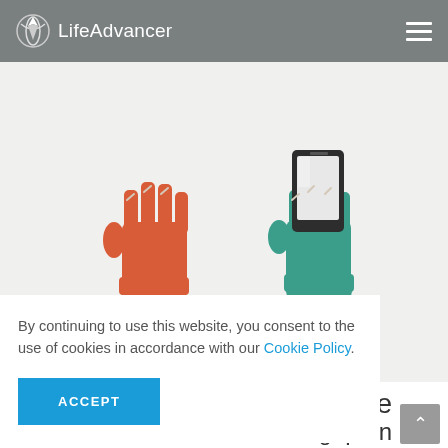LifeAdvancer
[Figure (illustration): Two raised fists side by side: left fist in orange-red color labeled 'XX' below, right fist in teal color holding a smartphone labeled 'XXI' below, on a light gray background — representing 20th vs 21st century.]
By continuing to use this website, you consent to the use of cookies in accordance with our Cookie Policy.
ACCEPT
The
grip on